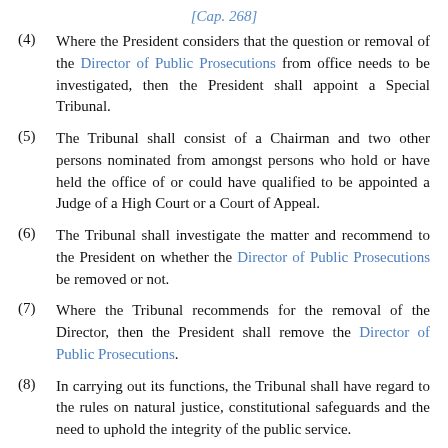[Cap. 268]
(4) Where the President considers that the question or removal of the Director of Public Prosecutions from office needs to be investigated, then the President shall appoint a Special Tribunal.
(5) The Tribunal shall consist of a Chairman and two other persons nominated from amongst persons who hold or have held the office of or could have qualified to be appointed a Judge of a High Court or a Court of Appeal.
(6) The Tribunal shall investigate the matter and recommend to the President on whether the Director of Public Prosecutions be removed or not.
(7) Where the Tribunal recommends for the removal of the Director, then the President shall remove the Director of Public Prosecutions.
(8) In carrying out its functions, the Tribunal shall have regard to the rules on natural justice, constitutional safeguards and the need to uphold the integrity of the public service.